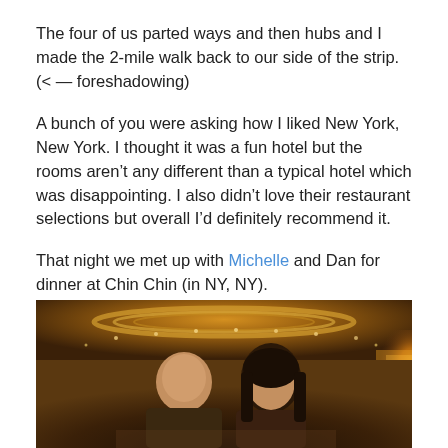The four of us parted ways and then hubs and I made the 2-mile walk back to our side of the strip. (< — foreshadowing)
A bunch of you were asking how I liked New York, New York. I thought it was a fun hotel but the rooms aren't any different than a typical hotel which was disappointing. I also didn't love their restaurant selections but overall I'd definitely recommend it.
That night we met up with Michelle and Dan for dinner at Chin Chin (in NY, NY).
[Figure (photo): Two people posing for a photo inside a restaurant with warm amber/golden lighting, circular ceiling light fixture visible in background.]